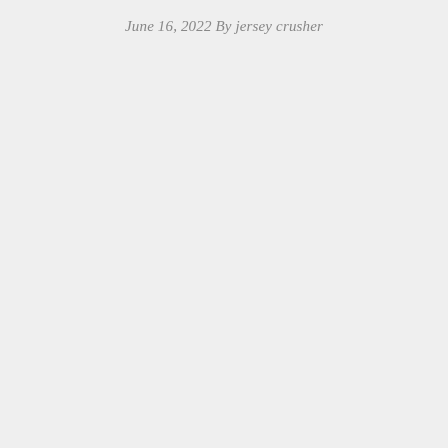June 16, 2022 By jersey crusher